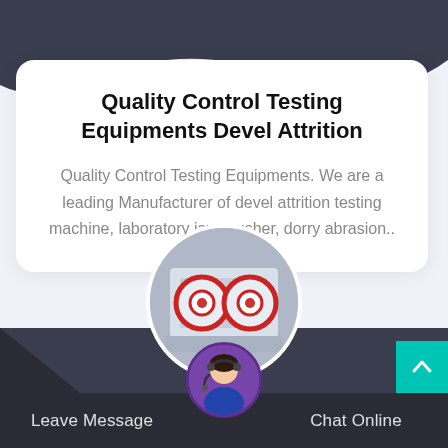[Figure (illustration): Dark blue wave shape decorating the top of the page]
Quality Control Testing Equipments Devel Attrition
Quality Control Testing Equipments. We are a leading Manufacturer of devel attrition testing machine, laboratory jaw crusher, dorry abrasion..
[Figure (photo): Circular photo of industrial jaw crusher / milling machine equipment in a factory setting]
[Figure (photo): Small circular avatar photo of a customer service representative wearing a headset]
Leave Message
Chat Online